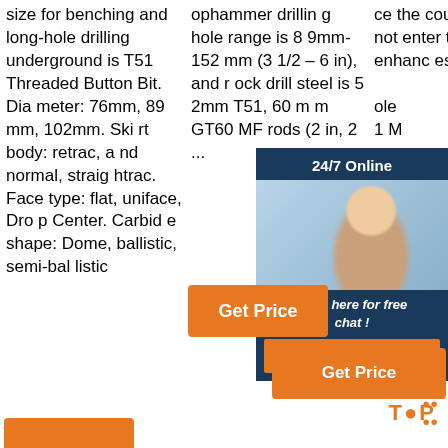size for benching and long-hole drilling underground is T51 Threaded Button Bit. Diameter: 76mm, 89mm, 102mm. Skirt body: retrac, and normal, straightrac. Face type: flat, uniface, Drop Center. Carbide shape: Dome, ballistic, semi-ballistic
ophammer drilling hole range is 89mm-152 mm (3 1/2 – 6 in), and rock drill steel is 52mm T51, 60 mm GT60 MF rods (2 in, 2 ...
ce the coupling does not enter the hole, this enhances flushing and hole... 1 M eng 050 m, 4 othe able
[Figure (other): Chat widget showing a woman with headset (customer service), '24/7 Online' header, 'Click here for free chat!' text, and an orange QUOTATION button, on dark blue background]
[Figure (other): Orange 'Get Price' button in column 2]
[Figure (other): Orange 'Get Price' button bottom right with TOP label and orange dot decoration]
[Figure (other): Partial orange button at bottom left]